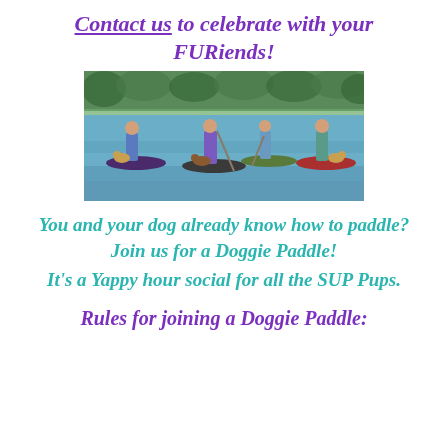Contact us to celebrate with your FURiends!
[Figure (photo): Four people on stand-up paddleboards on a lake with dogs, wearing life vests, surrounded by green trees.]
You and your dog already know how to paddle? Join us for a Doggie Paddle! It's a Yappy hour social for all the SUP Pups.
Rules for joining a Doggie Paddle: